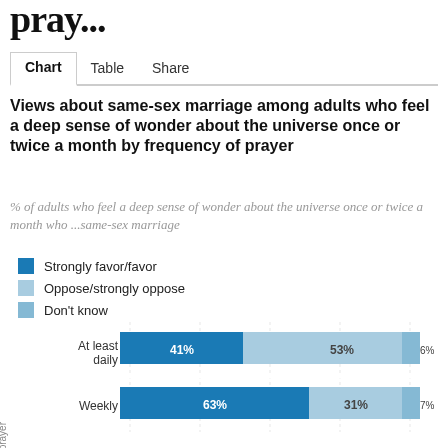pray...
Chart  Table  Share
Views about same-sex marriage among adults who feel a deep sense of wonder about the universe once or twice a month by frequency of prayer
% of adults who feel a deep sense of wonder about the universe once or twice a month who ...same-sex marriage
Strongly favor/favor
Oppose/strongly oppose
Don't know
[Figure (stacked-bar-chart): Views about same-sex marriage among adults who feel a deep sense of wonder about the universe once or twice a month by frequency of prayer]